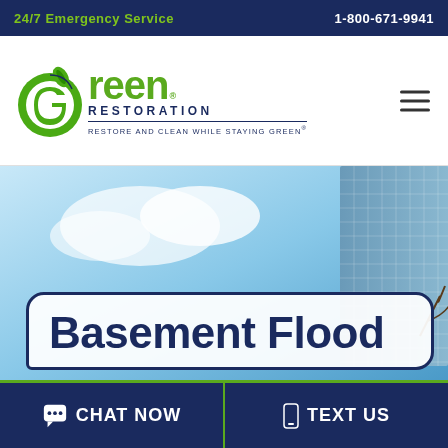24/7 Emergency Service   1-800-671-9941
[Figure (logo): Green Restoration logo — stylized green G with leaf, text 'Green Restoration', tagline 'Restore and Clean While Staying Green']
[Figure (photo): Hero background photo showing sky, clouds, and a glass building on the right side]
Basement Flood
CHAT NOW   TEXT US